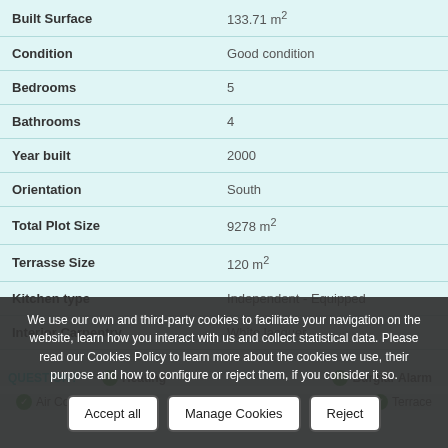| Property | Value |
| --- | --- |
| Built Surface | 133.71 m² |
| Condition | Good condition |
| Bedrooms | 5 |
| Bathrooms | 4 |
| Year built | 2000 |
| Orientation | South |
| Total Plot Size | 9278 m² |
| Terrasse Size | 120 m² |
| Kitchen type | Independent - Equipped |
| Interior Carpentry | White lacquer |
We use our own and third-party cookies to facilitate your navigation on the website, learn how you interact with us and collect statistical data. Please read our Cookies Policy to learn more about the cookies we use, their purpose and how to configure or reject them, if you consider it so.